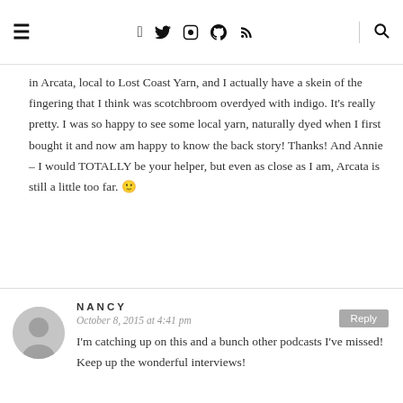≡  f  𝕥  📷  𝗽  )))  🔍
in Arcata, local to Lost Coast Yarn, and I actually have a skein of the fingering that I think was scotchbroom overdyed with indigo. It's really pretty. I was so happy to see some local yarn, naturally dyed when I first bought it and now am happy to know the back story! Thanks! And Annie – I would TOTALLY be your helper, but even as close as I am, Arcata is still a little too far. 🙂
NANCY
October 8, 2015 at 4:41 pm
I'm catching up on this and a bunch other podcasts I've missed! Keep up the wonderful interviews!